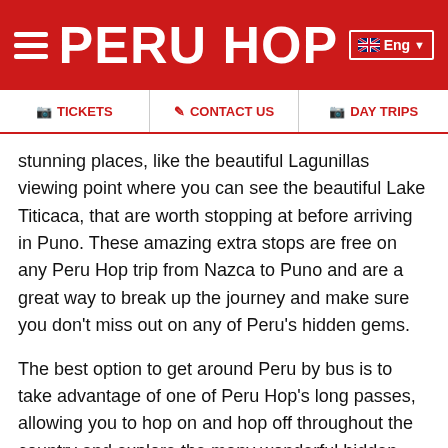PERU HOP
TICKETS   CONTACT US   DAY TRIPS
stunning places, like the beautiful Lagunillas viewing point where you can see the beautiful Lake Titicaca, that are worth stopping at before arriving in Puno. These amazing extra stops are free on any Peru Hop trip from Nazca to Puno and are a great way to break up the journey and make sure you don't miss out on any of Peru's hidden gems.
The best option to get around Peru by bus is to take advantage of one of Peru Hop's long passes, allowing you to hop on and hop off throughout the country and explore the many wonderful hidden gems that Peru has to offer. A hop on hop off bus service is a service that travels to many different points around the country, allowing people to hop off and enjoy each destination, or just take a quick look